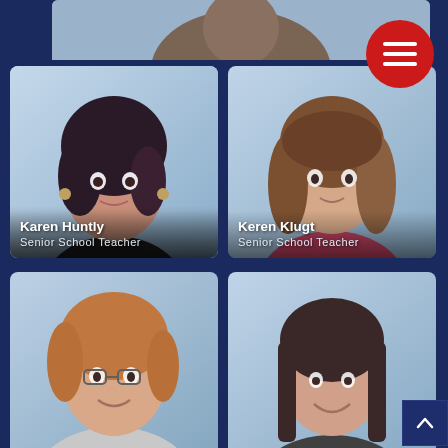[Figure (photo): Partial top strip of a person's photo, cropped at top of page]
[Figure (photo): Portrait photo of Karen Huntly, a woman with dark curly hair, wearing a black top]
Karen Huntly
Senior School Teacher
[Figure (photo): Portrait photo of Keren Klugt, a woman with long curly brown hair, wearing a floral top]
Keren Klugt
Senior School Teacher
[Figure (photo): Portrait photo of a woman with shoulder-length reddish-brown hair and glasses, smiling]
[Figure (photo): Portrait photo of a young woman with long straight dark brown hair, smiling]